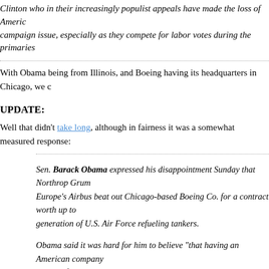Clinton who in their increasingly populist appeals have made the loss of American jobs a campaign issue, especially as they compete for labor votes during the primaries
With Obama being from Illinois, and Boeing having its headquarters in Chicago, we c
UPDATE:
Well that didn't take long, although in fairness it was a somewhat measured response:
Sen. Barack Obama expressed his disappointment Sunday that Northrop Grum Europe's Airbus beat out Chicago-based Boeing Co. for a contract worth up to generation of U.S. Air Force refueling tankers.
Obama said it was hard for him to believe "that having an American company source of aeronautic excellence would not have done this job." He preempted h had not examined the deal carefully.
MORE: From Hillary:
As Air Force officials met with angry members of Congress, presidential candid statement, "I am deeply concerned about the Bush administration's decision to refueling tankers."